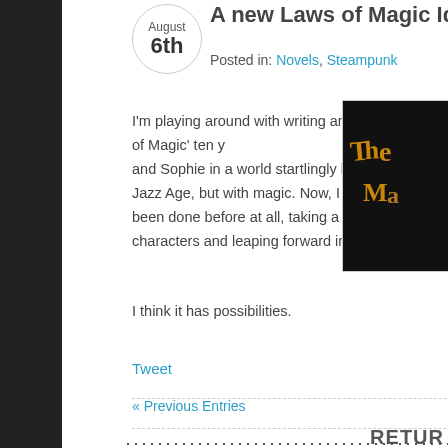August 6th
A new Laws of Magic Idea
Posted in: Novels, Steampunk
I'm playing around with writing an adult novel – 'The Laws of Magic' ten y... and Sophie in a world startlingly like our own in the Jazz Age, but with magic. Now, I don't know if this has been done before at all, taking a YA novel and its characters and leaping forward into the adult world.
[Figure (photo): Book cover image with golden fantasy lettering on dark background]
I think it has possibilities.
Tweet
« Previous Entries
RETUR